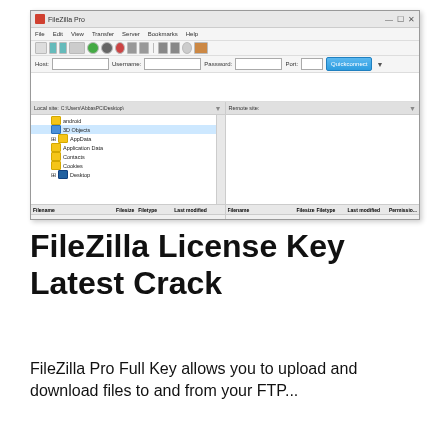[Figure (screenshot): FileZilla Pro application screenshot showing the FTP client interface with local file browser on the left (showing folders: android, 3D Objects, AppData, Application Data, Contacts, Cookies, Desktop) and an empty remote panel on the right with 'Not connected to any server' message. The interface includes a title bar, menu bar (File, Edit, View, Transfer, Server, Bookmarks, Help), toolbar, connection bar (Host, Username, Password, Port, Quickconnect), log area, file panels with columns (Filename, Filesize, Filetype, Last modified, Permissions), status bar showing 'Selected 1 directory' and 'Not connected', transfer queue area with tabs (Queued files, Failed transfers, Successful transfers), and bottom status showing 'Queue empty'.]
FileZilla License Key Latest Crack
FileZilla Pro Full Key allows you to upload and download files to and from your FTP...